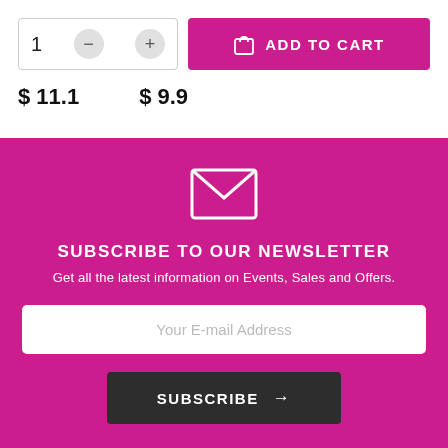[Figure (screenshot): E-commerce add to cart widget with quantity selector showing '1', minus and plus buttons, and a magenta 'ADD TO CART' button with shopping bag icon]
$ 11.1
$ 9.9
[Figure (illustration): Envelope icon (white outline on magenta background) for newsletter section]
SUBSCRIBE TO OUR NEWSLETTER
Get all the latest information on Events, Sales and Offers.
Your E-mail Address
SUBSCRIBE →